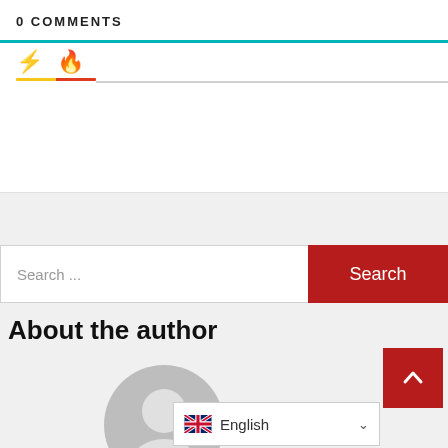0 COMMENTS
[Figure (infographic): Comment section icons: lightning bolt (yellow) and fire (orange-red) with colored underlines on a white background]
[Figure (infographic): Search bar with placeholder text 'Search ...' and a red Search button]
About the author
[Figure (illustration): Gray default user avatar circle with person silhouette]
[Figure (infographic): Red scroll-to-top button with upward chevron, and English language selector with UK flag]